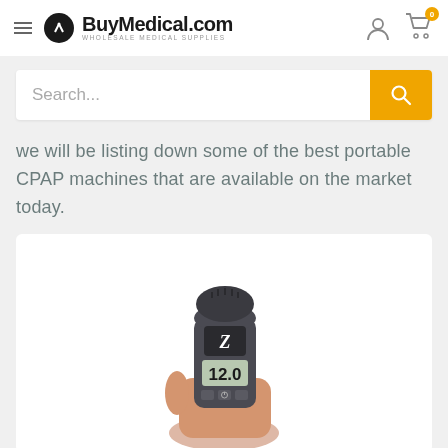BuyMedical.com — WHOLESALE MEDICAL SUPPLIES
Search...
we will be listing down some of the best portable CPAP machines that are available on the market today.
[Figure (photo): A hand holding a small portable CPAP machine (Z-series) with a digital display showing 12.0, dark gray cylindrical body with rounded top.]